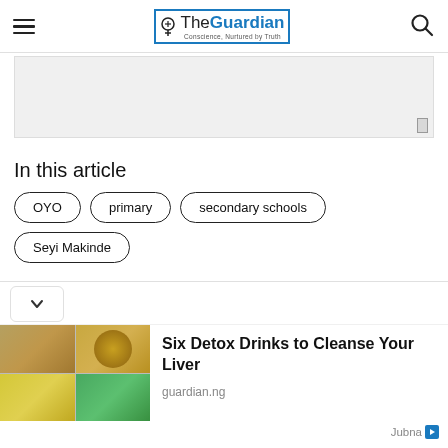The Guardian — Conscience, Nurtured by Truth
[Figure (other): Advertisement placeholder block, light gray background]
In this article
OYO
primary
secondary schools
Seyi Makinde
[Figure (photo): Collage of four images showing detox drinks: teas, lemon drinks, herbal beverages]
Six Detox Drinks to Cleanse Your Liver
guardian.ng
Jubna